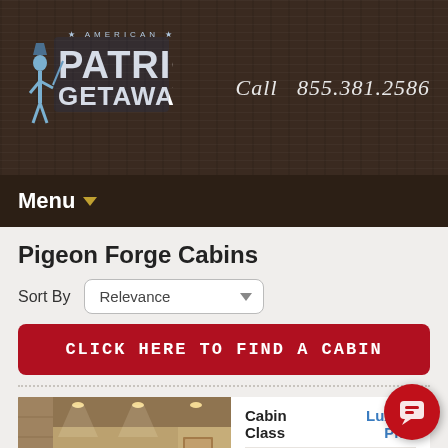[Figure (logo): American Patriot Getaways logo with revolutionary soldier figure and bold text]
Call  855.381.2586
Menu ▼
Pigeon Forge Cabins
Sort By  Relevance
CLICK HERE TO FIND A CABIN
[Figure (photo): Indoor swimming pool area inside a luxury cabin, warm stone walls and recessed lighting]
|  |  |
| --- | --- |
| Cabin Class | Luxury Plus |
| Sleeps | 8 |
| Bed |  |
| Bath | 2 |